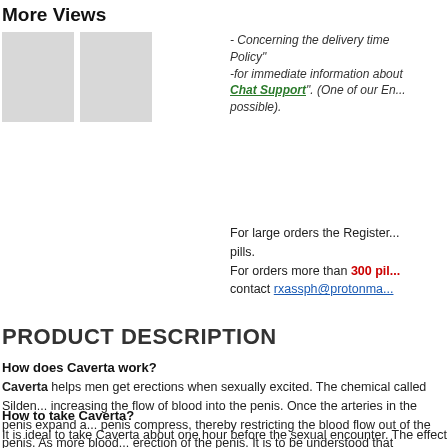More Views
[Figure (photo): Two gray placeholder thumbnail image boxes]
- Concerning the delivery time Policy"
-for immediate information about Chat Support". (One of our En... possible).
For large orders the Register... pills.
For orders more than 300 pil... contact rxassph@protonma...
PRODUCT DESCRIPTION
How does Caverta work?
Caverta helps men get erections when sexually excited. The chemical called Silden... increasing the flow of blood into the penis. Once the arteries in the penis expand a... penis compress, thereby restricting the blood flow out of the penis. As more blood... erection of the penis. It is to be understood that CAVERTA ® is not a hormone o... stimulated.
How to take Caverta?
It is ideal to take Caverta about one hour before the sexual encounter. The effect e... lasts up to 4 hours. Caverta is not a hormone or aphrodisiac. It will help you get an...